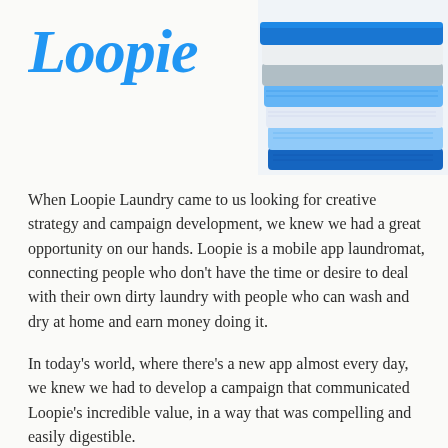[Figure (logo): Loopie brand logo in blue cursive/script font]
[Figure (photo): Stack of folded blue and white towels/laundry]
When Loopie Laundry came to us looking for creative strategy and campaign development, we knew we had a great opportunity on our hands. Loopie is a mobile app laundromat, connecting people who don't have the time or desire to deal with their own dirty laundry with people who can wash and dry at home and earn money doing it.
In today's world, where there's a new app almost every day, we knew we had to develop a campaign that communicated Loopie's incredible value, in a way that was compelling and easily digestible.
We created a series of static images as well as an